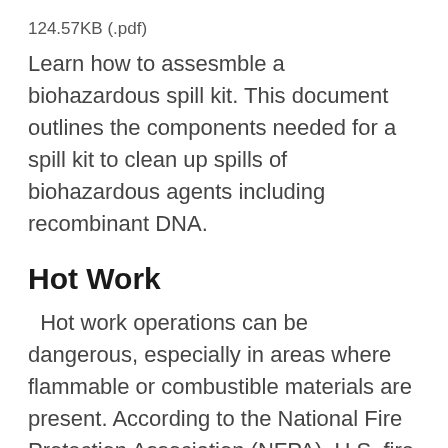124.57KB (.pdf)
Learn how to assesmble a biohazardous spill kit. This document outlines the components needed for a spill kit to clean up spills of biohazardous agents including recombinant DNA.
Hot Work
Hot work operations can be dangerous, especially in areas where flammable or combustible materials are present. According to the National Fire Protection Association (NFPA), U.S. fire departments...
Literature Review of Remediation Methods for PCBs in Buildings